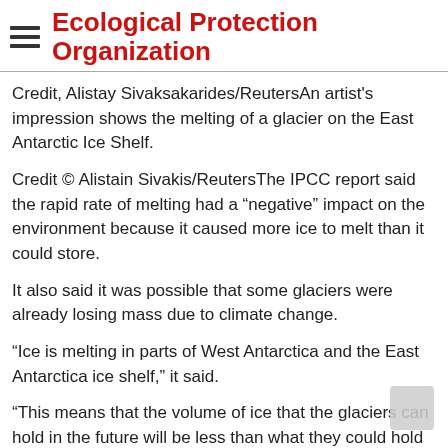Ecological Protection Organization
Credit, Alistay Sivaksakarides/ReutersAn artist's impression shows the melting of a glacier on the East Antarctic Ice Shelf.
Credit © Alistain Sivakis/ReutersThe IPCC report said the rapid rate of melting had a “negative” impact on the environment because it caused more ice to melt than it could store.
It also said it was possible that some glaciers were already losing mass due to climate change.
“Ice is melting in parts of West Antarctica and the East Antarctica ice shelf,” it said.
“This means that the volume of ice that the glaciers can hold in the future will be less than what they could hold in previous decades, which is causing an overall decline in the ice shelf.”
The ice shelf covers more than 4,000 square miles (10,000